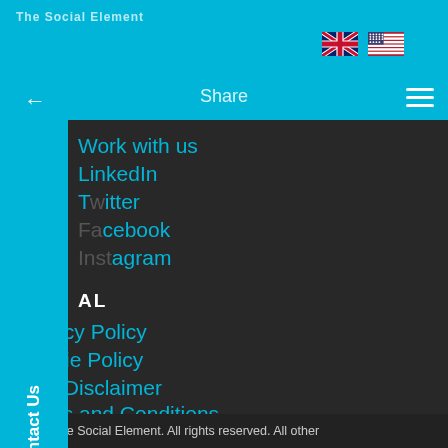The Social Element — Share — [UK flag] [US flag] [menu]
Work with us
LinkedIn
Twitter
Facebook
Instagram
AL
vacy Policy
Cookie Policy
Blog Disclaimer
Terms and Conditions
Acceptable Use Policy
©2021 The Social Element. All rights reserved. All other